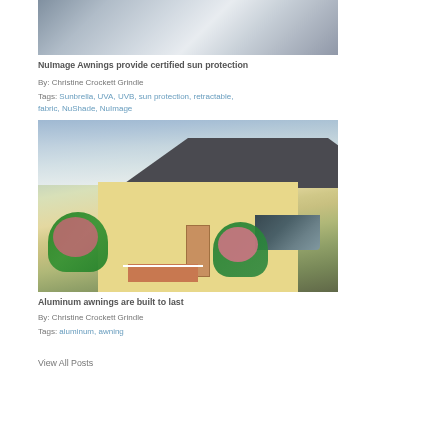[Figure (photo): Photo of a porch/sunroom with wicker furniture and windows, partially visible at top of page]
NuImage Awnings provide certified sun protection
By: Christine Crockett Grindle
Tags: Sunbrella, UVA, UVB, sun protection, retractable, fabric, NuShade, NuImage
[Figure (photo): Photo of a yellow house exterior with a dark awning, pink flowering bushes, steps, and cloudy sky]
Aluminum awnings are built to last
By: Christine Crockett Grindle
Tags: aluminum, awning
View All Posts